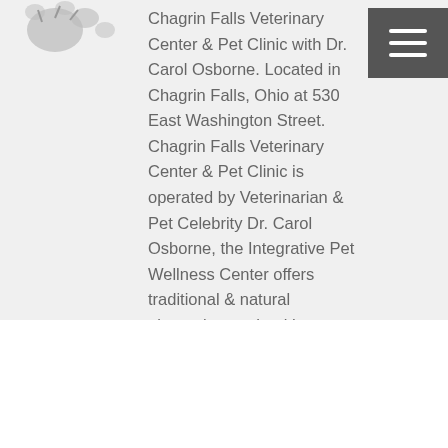[Figure (illustration): Partial paw print / animal illustration in top-left corner]
Chagrin Falls Veterinary Center & Pet Clinic with Dr. Carol Osborne. Located in Chagrin Falls, Ohio at 530 East Washington Street. Chagrin Falls Veterinary Center & Pet Clinic is operated by Veterinarian & Pet Celebrity Dr. Carol Osborne, the Integrative Pet Wellness Center offers traditional & natural alternative pet health products & therapies for dogs & cats.
[Figure (other): Hamburger menu icon button in top-right corner, dark gray background with three white horizontal lines]
PREVIOUS
Burns and Scalds on Cats
[Figure (other): Scroll-to-top button in bottom-right corner, dark gray background with white upward arrow]